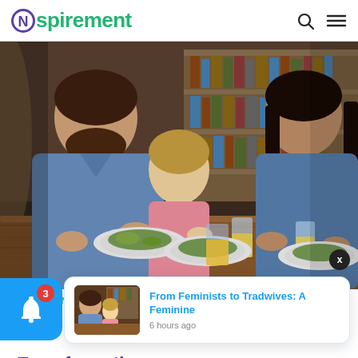Nspirement
[Figure (photo): A family of three — man, young girl, and woman — sitting at a wooden dining table eating salads with glasses of orange juice, with bookshelves in the background]
RELATIONSHIPS
From Feminists to Tradwives: A Feminine Transformation
[Figure (screenshot): Notification popup card showing thumbnail of family dining photo with text 'From Feminists to Tradwives: A Feminine' and timestamp '6 hours ago']